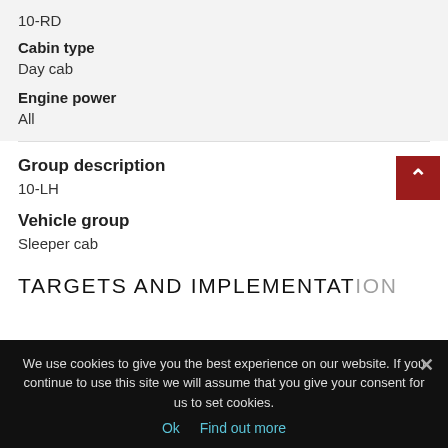10-RD
Cabin type
Day cab
Engine power
All
Group description
10-LH
Vehicle group
Sleeper cab
TARGETS AND IMPLEMENTATION
We use cookies to give you the best experience on our website. If you continue to use this site we will assume that you give your consent for us to set cookies.
Ok  Find out more